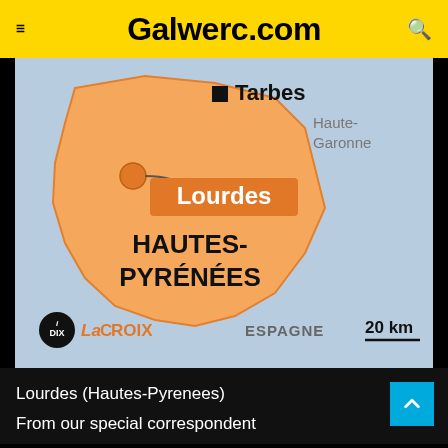Galwerc.com
[Figure (map): Map showing Hautes-Pyrénées department in France, with Lourdes marked by an orange dot and label, Tarbes marked by a black square, and neighboring region Haute-Garonne labeled. Bottom shows ESPAGNE label and 20 km scale bar. Credits: IDIX La Croix.]
Lourdes (Hautes-Pyrenees)
From our special correspondent